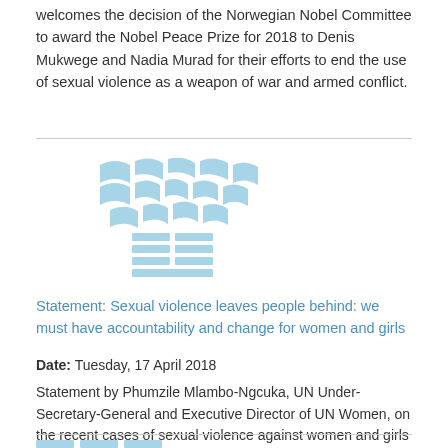welcomes the decision of the Norwegian Nobel Committee to award the Nobel Peace Prize for 2018 to Denis Mukwege and Nadia Murad for their efforts to end the use of sexual violence as a weapon of war and armed conflict.
[Figure (logo): UN Women logo — stylized globe/wheat symbol in light blue]
Statement: Sexual violence leaves people behind: we must have accountability and change for women and girls
Date: Tuesday, 17 April 2018
Statement by Phumzile Mlambo-Ngcuka, UN Under-Secretary-General and Executive Director of UN Women, on the recent cases of sexual violence against women and girls in India, 17 April